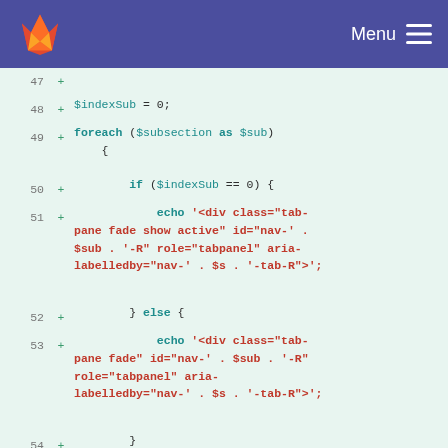GitLab Menu
[Figure (screenshot): Code diff view showing PHP code lines 47-60 with line numbers, plus signs indicating additions, and syntax highlighting in teal and red on a mint green background]
47 +
48 +     $indexSub = 0;
49 +     foreach ($subsection as $sub)
    {
50 +         if ($indexSub == 0) {
51 +             echo '<div class="tab-pane fade show active" id="nav-' . $sub . '-R" role="tabpanel" aria-labelledby="nav-' . $s . '-tab-R">';
52 +         } else {
53 +             echo '<div class="tab-pane fade" id="nav-' . $sub . '-R" role="tabpanel" aria-labelledby="nav-' . $s . '-tab-R">';
54 +         }
55 +
56 +
57 +         printPanel($sub);
58 +
59 +
60 +         echo '</div>';